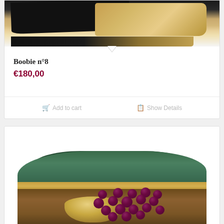[Figure (photo): Painting artwork photo showing dark and tan/golden brush strokes on canvas, partially visible at top of product card]
Boobie n°8
€180,00
Add to cart   Show Details
[Figure (photo): Painting of a still life with a bowl and cluster of dark red/purple grapes on a brown surface, with green and teal background foliage]